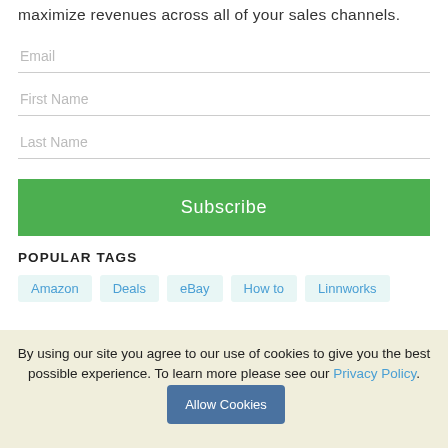maximize revenues across all of your sales channels.
Email
First Name
Last Name
Subscribe
POPULAR TAGS
Amazon
Deals
eBay
How to
Linnworks
By using our site you agree to our use of cookies to give you the best possible experience. To learn more please see our Privacy Policy.
Allow Cookies